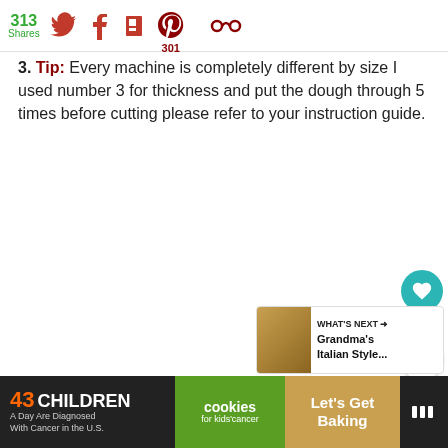313 Shares [Twitter] [Facebook] [Flipboard] [Pinterest 301] [Other]
3. Tip: Every machine is completely different by size I used number 3 for thickness and put the dough through 5 times before cutting please refer to your instruction guide.
[Figure (screenshot): Social sharing floating sidebar with heart/like button (38 likes) and share button]
[Figure (screenshot): What's Next panel showing Grandma's Italian Style... recipe thumbnail]
[Figure (screenshot): Advertisement banner: 43 Children A Day Are Diagnosed With Cancer in the U.S. - cookies for kids cancer - Let's Get Baking]